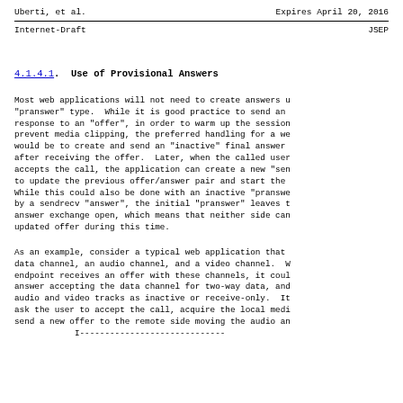Uberti, et al.    Expires April 20, 2016
Internet-Draft    JSEP
4.1.4.1.  Use of Provisional Answers
Most web applications will not need to create answers using the "pranswer" type.  While it is good practice to send an early response to an "offer", in order to warm up the session and prevent media clipping, the preferred handling for a web app would be to create and send an "inactive" final answer immediately after receiving the offer.  Later, when the called user accepts the call, the application can create a new "sendrecv" offer to update the previous offer/answer pair and start the media. While this could also be done with an inactive "pranswer" followed by a sendrecv "answer", the initial "pranswer" leaves the offer/ answer exchange open, which means that neither side can send an updated offer during this time.
As an example, consider a typical web application that has a data channel, an audio channel, and a video channel.  When the endpoint receives an offer with these channels, it could send an answer accepting the data channel for two-way data, and set the audio and video tracks as inactive or receive-only.  It would then ask the user to accept the call, acquire the local media, and send a new offer to the remote side moving the audio and video to sendrecv.